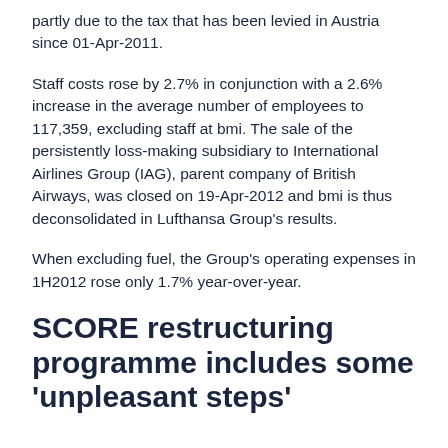partly due to the tax that has been levied in Austria since 01-Apr-2011.
Staff costs rose by 2.7% in conjunction with a 2.6% increase in the average number of employees to 117,359, excluding staff at bmi. The sale of the persistently loss-making subsidiary to International Airlines Group (IAG), parent company of British Airways, was closed on 19-Apr-2012 and bmi is thus deconsolidated in Lufthansa Group's results.
When excluding fuel, the Group's operating expenses in 1H2012 rose only 1.7% year-over-year.
SCORE restructuring programme includes some 'unpleasant steps'